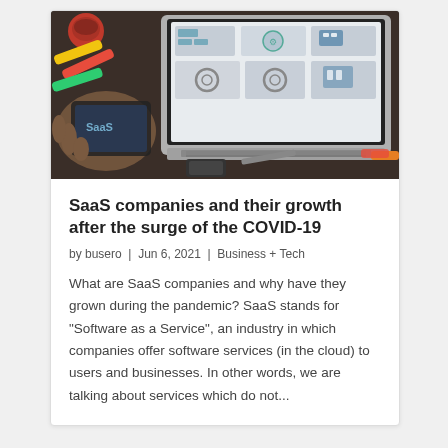[Figure (photo): Photo of a person's hand holding a tablet/smartphone with SaaS glowing text, next to a laptop showing a dashboard with cloud icons, colorful markers and a coffee mug in the background on a desk.]
SaaS companies and their growth after the surge of the COVID-19
by busero  |  Jun 6, 2021  |  Business + Tech
What are SaaS companies and why have they grown during the pandemic? SaaS stands for "Software as a Service", an industry in which companies offer software services (in the cloud) to users and businesses. In other words, we are talking about services which do not...